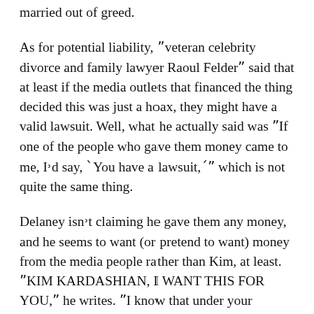married out of greed.
As for potential liability, ˎveteran celebrity divorce and family lawyer Raoul Felderˎ said that at least if the media outlets that financed the thing decided this was just a hoax, they might have a valid lawsuit. Well, what he actually said was ˎIf one of the people who gave them money came to me, Iʼd say, ʻYou have a lawsuit,ʼˎ which is not quite the same thing.
Delaney isnʼt claiming he gave them any money, and he seems to want (or pretend to want) money from the media people rather than Kim, at least. ˎKIM KARDASHIAN, I WANT THIS FOR YOU,ˎ he writes. ˎI know that under your unnecessary inch of makeup and Kevlar sheath dress is a heart that yearns for true love .... Thatʼs why Iʼd like you to stay married. And if you wonʼt, I will sue you.ˎ
I would like to formally ask him that if he does sue, to please make this a class action, on both sides, so